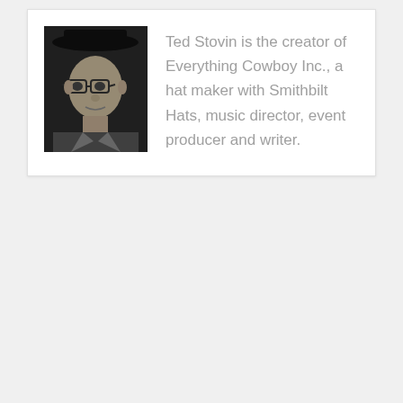[Figure (photo): Black and white headshot photo of Ted Stovin, a young man wearing glasses and a hat, looking at the camera.]
Ted Stovin is the creator of Everything Cowboy Inc., a hat maker with Smithbilt Hats, music director, event producer and writer.